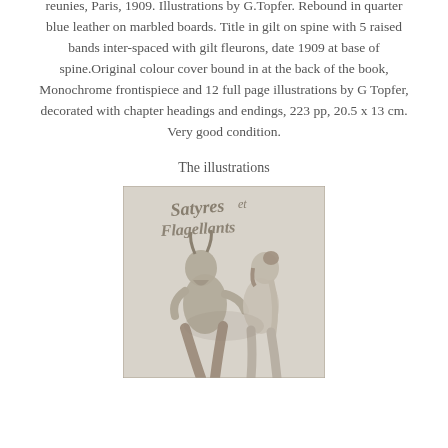reunies, Paris, 1909. Illustrations by G.Topfer. Rebound in quarter blue leather on marbled boards. Title in gilt on spine with 5 raised bands inter-spaced with gilt fleurons, date 1909 at base of spine.Original colour cover bound in at the back of the book, Monochrome frontispiece and 12 full page illustrations by G Topfer, decorated with chapter headings and endings, 223 pp, 20.5 x 13 cm. Very good condition.
The illustrations
[Figure (illustration): Monochrome illustration showing stylized Art Nouveau text reading 'Satyres et Flagellants' with figures of a satyr and a nude woman embracing]